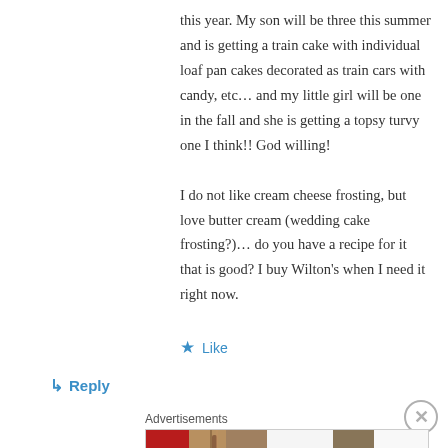this year. My son will be three this summer and is getting a train cake with individual loaf pan cakes decorated as train cars with candy, etc… and my little girl will be one in the fall and she is getting a topsy turvy one I think!! God willing!

I do not like cream cheese frosting, but love butter cream (wedding cake frosting?)… do you have a recipe for it that is good? I buy Wilton's when I need it right now.
★ Like
↳ Reply
[Figure (other): ULTA Beauty advertisement banner showing makeup imagery including lips with red lipstick, makeup brush, eye with eyeshadow, ULTA Beauty logo, smoky eye, and SHOP NOW text]